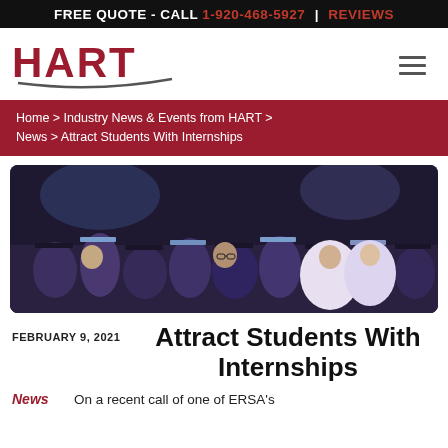FREE QUOTE - CALL 1-920-468-5927 | REVIEWS
[Figure (logo): HART company logo with stylized text and swoosh graphic]
Home > Industry News & Events from HART > News > Attract Students With Internships
[Figure (photo): Group of students in graduation caps and gowns celebrating at a commencement ceremony]
FEBRUARY 9, 2021
Attract Students With Internships
News   On a recent call of one of ERSA's